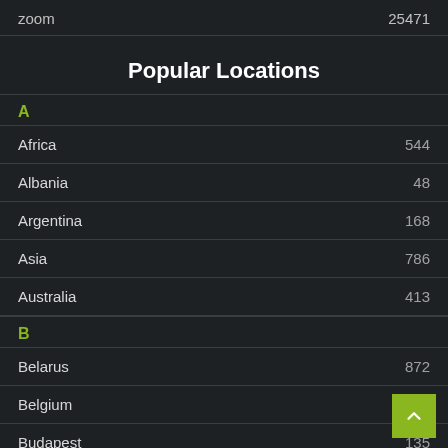zoom  25471
Popular Locations
A
Africa  544
Albania  48
Argentina  168
Asia  786
Australia  413
B
Belarus  872
Belgium  102
Budapest  135
Bulgaria  599
C